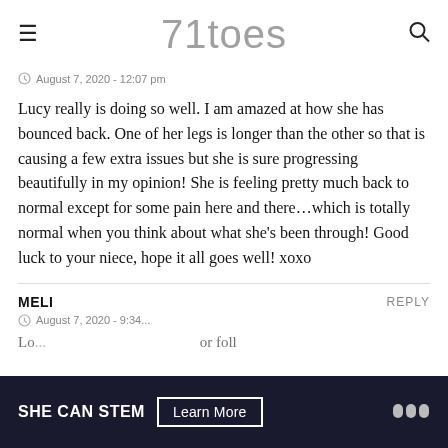71toes
August 7, 2020 - 12:07 pm
Lucy really is doing so well. I am amazed at how she has bounced back. One of her legs is longer than the other so that is causing a few extra issues but she is sure progressing beautifully in my opinion! She is feeling pretty much back to normal except for some pain here and there…which is totally normal when you think about what she's been through! Good luck to your niece, hope it all goes well! xoxo
MELI
REPLY
August 7, 2020 - 9:34
SHE CAN STEM   Learn More